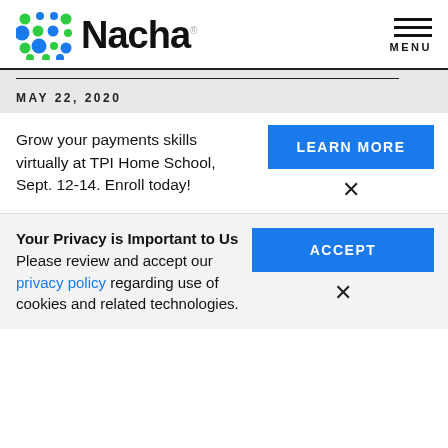[Figure (logo): Nacha logo with colorful dot grid pattern and bold 'Nacha' wordmark]
MENU
MAY 22, 2020
Grow your payments skills virtually at TPI Home School, Sept. 12-14. Enroll today!
LEARN MORE
Your Privacy is Important to Us
Please review and accept our privacy policy regarding use of cookies and related technologies.
ACCEPT